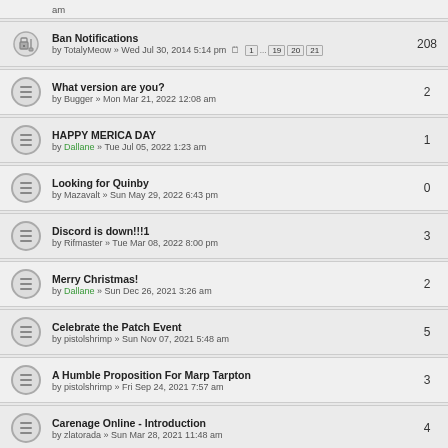am
Ban Notifications by TotalyMeow » Wed Jul 30, 2014 5:14 pm | 1 ... 19 20 21 | 208
What version are you? by Bugger » Mon Mar 21, 2022 12:08 am | 2
HAPPY MERICA DAY by Dallane » Tue Jul 05, 2022 1:23 am | 1
Looking for Quinby by Mazavalt » Sun May 29, 2022 6:43 pm | 0
Discord is down!!!1 by Rifmaster » Tue Mar 08, 2022 8:00 pm | 3
Merry Christmas! by Dallane » Sun Dec 26, 2021 3:26 am | 2
Celebrate the Patch Event by pistolshrimp » Sun Nov 07, 2021 5:48 am | 5
A Humble Proposition For Marp Tarpton by pistolshrimp » Fri Sep 24, 2021 7:57 am | 3
Carenage Online - Introduction by zlatorada » Sun Mar 28, 2021 11:48 am | 4
Salem Spring Contest! by spalari » Wed Mar 24, 2021 12:48 pm | 1 2 | 11
Salem for Nerds E01 - Amazing Spermwhales! by Nye_Billson » Wed Dec 09, 2020 6:04 am | 1 2 | 16